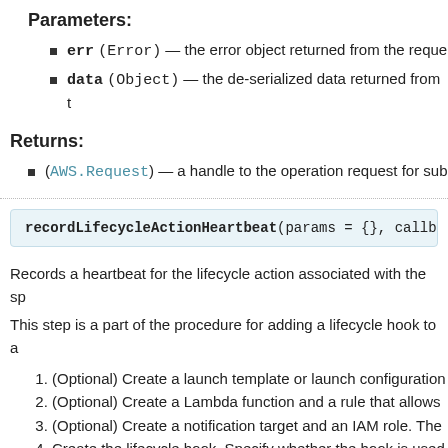Parameters:
err (Error) — the error object returned from the reque
data (Object) — the de-serialized data returned from t
Returns:
(AWS.Request) — a handle to the operation request for sub
recordLifecycleActionHeartbeat(params = {}, callb
Records a heartbeat for the lifecycle action associated with the sp
This step is a part of the procedure for adding a lifecycle hook to a
1. (Optional) Create a launch template or launch configuration
2. (Optional) Create a Lambda function and a rule that allows
3. (Optional) Create a notification target and an IAM role. The
4. Create the lifecycle hook. Specify whether the hook is used
5. If you need more time, record the lifecycle action hearth
6. If you finish before the timeout period ends, send a callbac